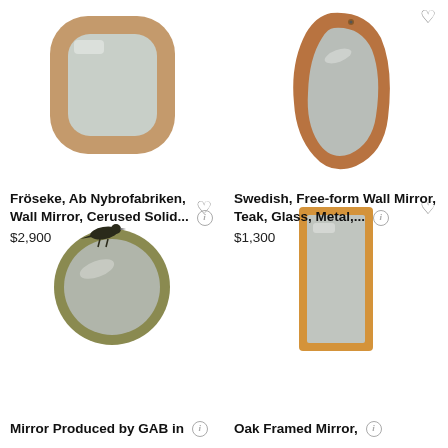[Figure (photo): Wall mirror with cerused solid wood rounded rectangular frame, warm tan/beige color]
Fröseke, Ab Nybrofabriken, Wall Mirror, Cerused Solid...
$2,900
[Figure (photo): Free-form asymmetric wall mirror with teak wood frame]
Swedish, Free-form Wall Mirror, Teak, Glass, Metal,...
$1,300
[Figure (photo): Round brass/olive toned mirror with decorative bird on top]
Mirror Produced by GAB in
[Figure (photo): Rectangular oak framed mirror, tall portrait orientation]
Oak Framed Mirror,